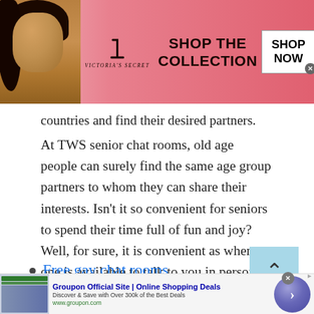[Figure (other): Victoria's Secret advertisement banner with model, logo, SHOP THE COLLECTION text, and SHOP NOW button]
countries and find their desired partners.
At TWS senior chat rooms, old age people can surely find the same age group partners to whom they can share their interests. Isn't it so convenient for seniors to spend their time full of fun and joy? Well, for sure, it is convenient as when no one is available to talk to you in person, virtual hang out will surely work out.
Free gay chat rooms
[Figure (other): Groupon Official Site Online Shopping Deals advertisement banner]
[Figure (other): Scroll-up navigation button (chevron up arrow on light blue background)]